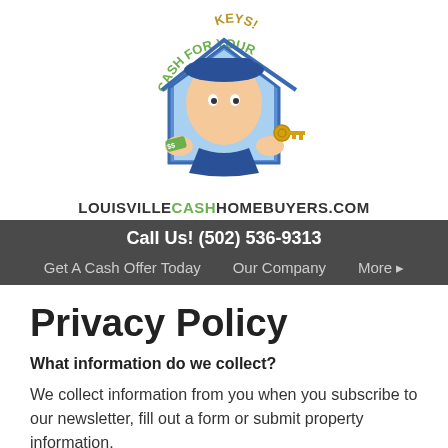[Figure (logo): Cash For Your Keys cartoon logo with a man holding cash and a key inside a house outline, above the text LOUISVILLECASHHOMEBUYERS.COM]
Call Us! (502) 536-9313 | Get A Cash Offer Today  Our Company  More
Privacy Policy
What information do we collect?
We collect information from you when you subscribe to our newsletter, fill out a form or submit property information.
We may collect information about your computer...